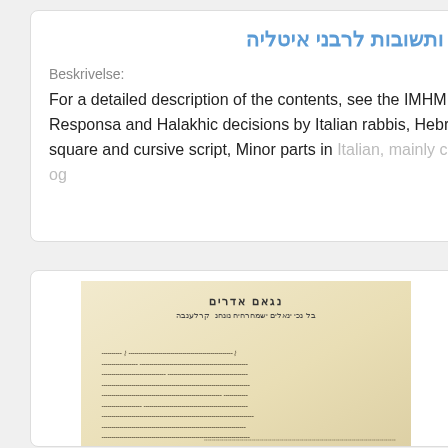שאלות ותשובות לרבני איטליה
Beskrivelse:
For a detailed description of the contents, see the IMHM record., Responsa and Halakhic decisions by Italian rabbis, Hebrew square and cursive script, Minor parts in Italian, mainly cursive og ...
[Figure (photo): Photograph of a Hebrew manuscript page with cursive and square script, showing handwritten text in Hebrew. The page has a printed header in Hebrew at the top and dense handwritten cursive text below.]